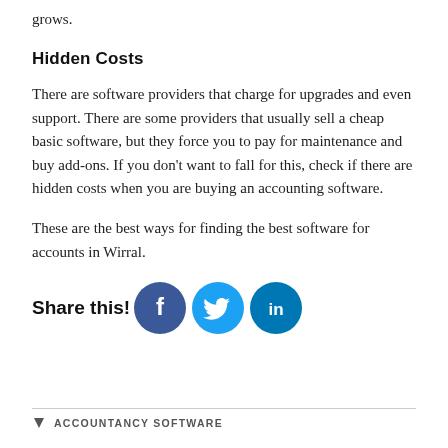grows.
Hidden Costs
There are software providers that charge for upgrades and even support. There are some providers that usually sell a cheap basic software, but they force you to pay for maintenance and buy add-ons. If you don't want to fall for this, check if there are hidden costs when you are buying an accounting software.
These are the best ways for finding the best software for accounts in Wirral.
Share this!
[Figure (infographic): Social share buttons: Facebook (dark blue circle with f), Twitter (light blue circle with bird), LinkedIn (dark teal circle with in)]
ACCOUNTANCY SOFTWARE